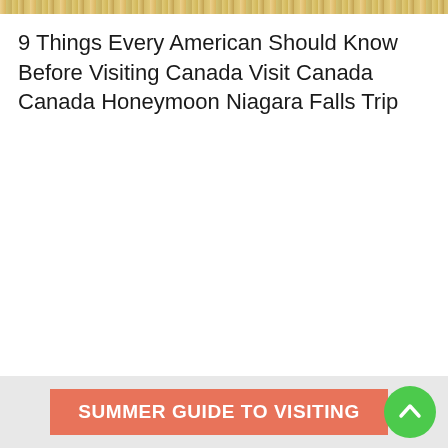[Figure (illustration): Decorative banner strip with floral or ornamental pattern in gold/yellow tones at the top of the page]
9 Things Every American Should Know Before Visiting Canada Visit Canada Canada Honeymoon Niagara Falls Trip
[Figure (infographic): Bottom banner section with salmon/coral colored button reading SUMMER GUIDE TO VISITING and a green circular scroll-to-top arrow button on the right]